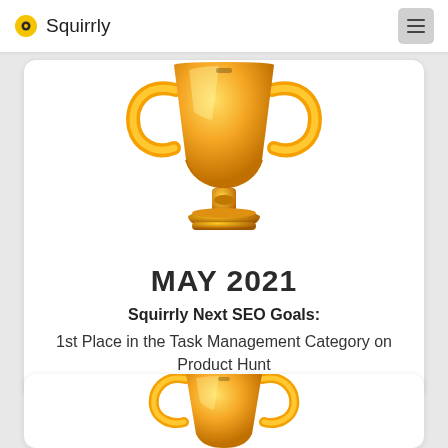Squirrly
[Figure (illustration): Gold trophy cup illustration, partially cropped at top, large golden trophy with handles and base]
MAY 2021
Squirrly Next SEO Goals:
1st Place in the Task Management Category on Product Hunt
[Figure (illustration): Gold trophy cup illustration, partially cropped, smaller trophy showing handles and base]